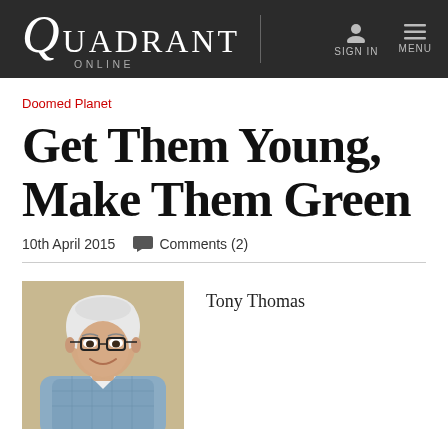Quadrant Online | SIGN IN | MENU
Doomed Planet
Get Them Young, Make Them Green
10th April 2015   Comments (2)
[Figure (photo): Headshot of an elderly smiling man with white hair and glasses, wearing a blue checked shirt, against a beige background]
Tony Thomas